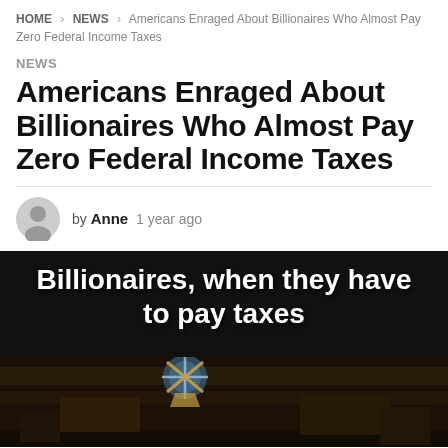HOME > NEWS > Americans Enraged About Billionaires Who Almost Pay Zero Federal Income Taxes
NEWS
Americans Enraged About Billionaires Who Almost Pay Zero Federal Income Taxes
by Anne  1 year ago
[Figure (photo): Black background image with bold white text reading 'Billionaires, when they have to pay taxes' with a dark wooden scene visible at the bottom]